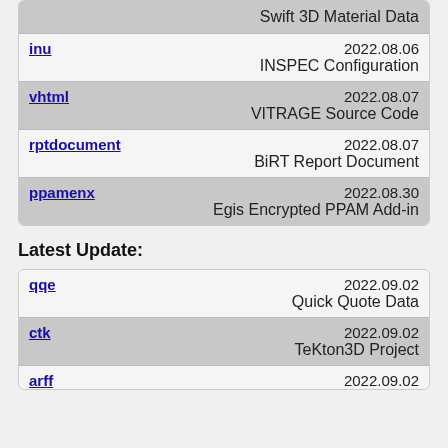| (gray) Swift 3D Material Data |
| inu | 2022.08.06 | INSPEC Configuration |
| vhtml | 2022.08.07 | VITRAGE Source Code |
| rptdocument | 2022.08.07 | BiRT Report Document |
| ppamenx | 2022.08.30 | Egis Encrypted PPAM Add-in |
Latest Update:
| qqe | 2022.09.02 | Quick Quote Data |
| ctk | 2022.09.02 | TeKton3D Project |
| arff | 2022.09.02 |  |